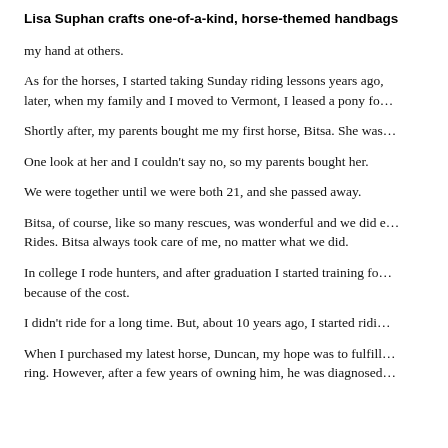Lisa Suphan crafts one-of-a-kind, horse-themed handbags
my hand at others.
As for the horses, I started taking Sunday riding lessons years ago, later, when my family and I moved to Vermont, I leased a pony fo…
Shortly after, my parents bought me my first horse, Bitsa. She was…
One look at her and I couldn't say no, so my parents bought her.
We were together until we were both 21, and she passed away.
Bitsa, of course, like so many rescues, was wonderful and we did e… Rides. Bitsa always took care of me, no matter what we did.
In college I rode hunters, and after graduation I started training fo… because of the cost.
I didn't ride for a long time. But, about 10 years ago, I started ridi…
When I purchased my latest horse, Duncan, my hope was to fulfill… ring. However, after a few years of owning him, he was diagnosed…